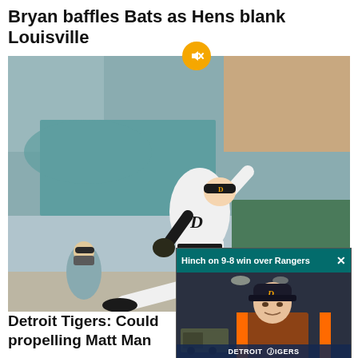Bryan baffles Bats as Hens blank Louisville
[Figure (photo): Detroit Tigers pitcher in white uniform mid-windup on the mound, umpire visible in background, stadium crowd and green seats behind]
Detroit Tigers: Could propelling Matt Man
[Figure (screenshot): Video overlay showing a man in a Detroit Tigers cap and jacket being interviewed. Top bar reads 'Hinch on 9-8 win over Rangers' with an X close button. A muted/speaker icon shown. Detroit Tigers logo at bottom.]